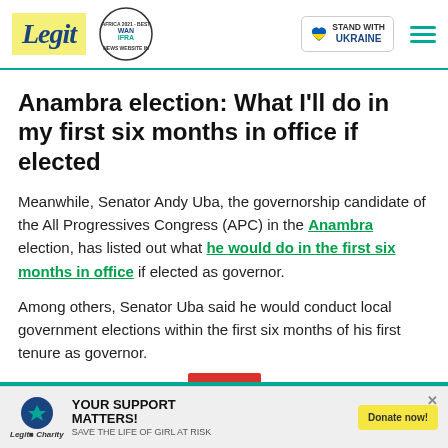Legit | WAN IFRA 2021 Best News Website in Africa | Stand with Ukraine
Anambra election: What I'll do in my first six months in office if elected
Meanwhile, Senator Andy Uba, the governorship candidate of the All Progressives Congress (APC) in the Anambra election, has listed out what he would do in the first six months in office if elected as governor.
Among others, Senator Uba said he would conduct local government elections within the first six months of his first tenure as governor.
[Figure (other): Red button with down arrow chevron for read more / expand content]
[Figure (other): Advertisement banner: YOUR SUPPORT MATTERS! SAVE THE LIFE OF GIRL AT RISK - Legit Charity / WARF - Donate now!]